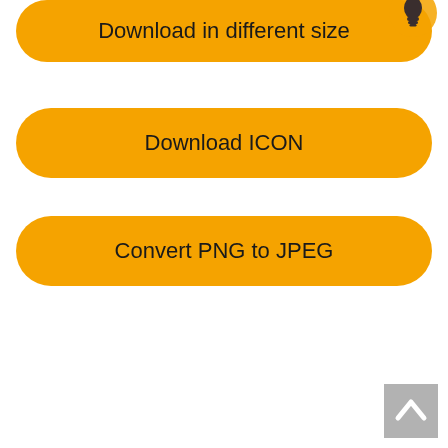[Figure (screenshot): Orange rounded button labeled 'Download in different size' with a lightbulb icon overlay in the top right corner]
[Figure (screenshot): Orange rounded button labeled 'Download ICON']
[Figure (screenshot): Orange rounded button labeled 'Convert PNG to JPEG']
[Figure (other): Gray scroll-to-top button with upward chevron arrow in bottom right corner]